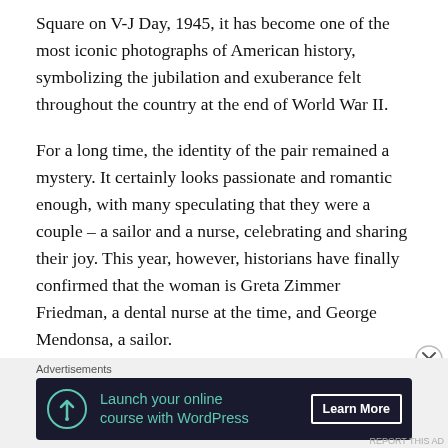Square on V-J Day, 1945, it has become one of the most iconic photographs of American history, symbolizing the jubilation and exuberance felt throughout the country at the end of World War II.
For a long time, the identity of the pair remained a mystery. It certainly looks passionate and romantic enough, with many speculating that they were a couple – a sailor and a nurse, celebrating and sharing their joy. This year, however, historians have finally confirmed that the woman is Greta Zimmer Friedman, a dental nurse at the time, and George Mendonsa, a sailor.
Have a look at some articles about it. Do you get the
Advertisements
[Figure (other): Advertisement banner: 'Launch your online course with WordPress' with a Learn More button on a dark navy background.]